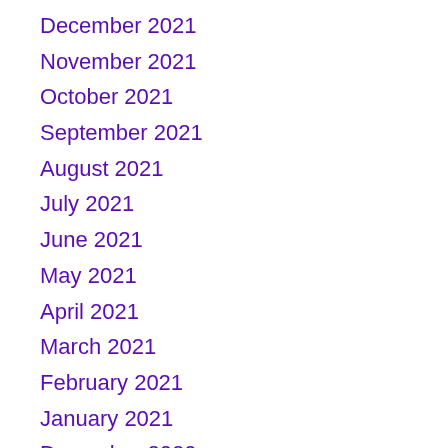December 2021
November 2021
October 2021
September 2021
August 2021
July 2021
June 2021
May 2021
April 2021
March 2021
February 2021
January 2021
December 2020
June 2020
February 2020